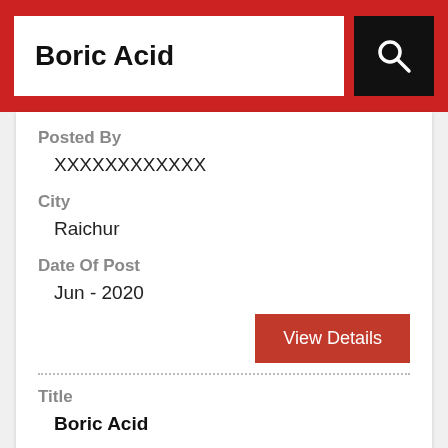Boric Acid
Posted By
XXXXXXXXXXXX
City
Raichur
Date Of Post
Jun - 2020
View Details
Title
Boric Acid
Description
Boric acid 1000kg